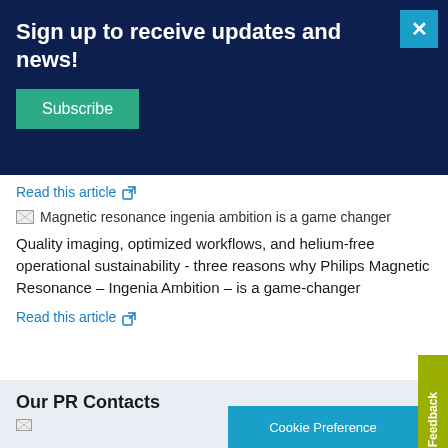Sign up to receive updates and news!
Subscribe
Read this article
[Figure (screenshot): Broken image placeholder with alt text: Magnetic resonance ingenia ambition is a game changer]
Quality imaging, optimized workflows, and helium-free operational sustainability - three reasons why Philips Magnetic Resonance – Ingenia Ambition – is a game-changer
Read this article
Our PR Contacts
[Figure (screenshot): Broken image placeholder for PR contact image]
Cookie Preference
Feedback